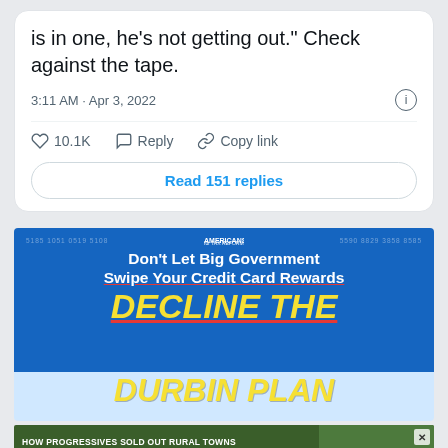is in one, he’s not getting out.” Check against the tape.
3:11 AM · Apr 3, 2022
10.1K   Reply   Copy link
Read 151 replies
[Figure (screenshot): Americans for Tax Reform advertisement: Don’t Let Big Government Swipe Your Credit Card Rewards - DECLINE THE DURBIN PLAN]
[Figure (screenshot): Video ad: HOW PROGRESSIVES SOLD OUT RURAL TOWNS TO FOREIGN DRUG LORDS - NARCOFORNIA - WATCH NOW]